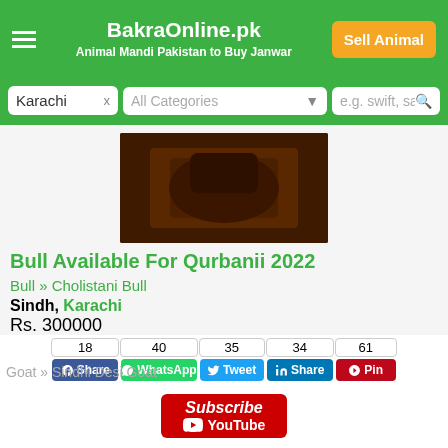BakraOnline.pk — Animal Mandi Pakistan to Buy Janwar
[Figure (screenshot): Search bar with location 'Karachi', category 'All Categories', and keyword placeholder 'e.g. swift, samsung ga']
[Figure (photo): Dark brown bull/animal image]
Bull Available For Qurbanii 2022
Bull » Cholistani Bull
Sindh, Karachi
Rs. 300000
Jul 5, 2022
[Figure (photo): Placeholder image with camera icon for additional listing photo]
Close x
18 Share (Facebook) | 40 WhatsApp | 35 Tweet | 34 Share (LinkedIn) | 61 Pin
[Figure (screenshot): Subscribe YouTube button overlay]
Goat » Sindhi Desi Goat